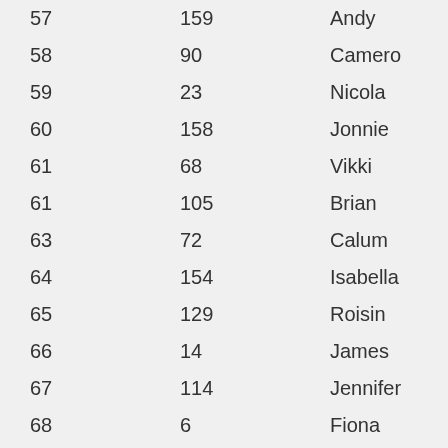|  |  |  |
| --- | --- | --- |
| 57 | 159 | Andy |
| 58 | 90 | Cameron |
| 59 | 23 | Nicola |
| 60 | 158 | Jonnie |
| 61 | 68 | Vikki |
| 61 | 105 | Brian |
| 63 | 72 | Calum |
| 64 | 154 | Isabella |
| 65 | 129 | Roisin |
| 66 | 14 | James |
| 67 | 114 | Jennifer |
| 68 | 6 | Fiona |
| 69 | 140 | David |
| 70 | 81 | Ian |
| 71 | 49 | Ruth |
| 72 | 69 | Alyson |